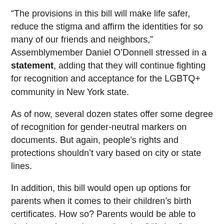“The provisions in this bill will make life safer, reduce the stigma and affirm the identities for so many of our friends and neighbors,” Assemblymember Daniel O’Donnell stressed in a statement, adding that they will continue fighting for recognition and acceptance for the LGBTQ+ community in New York state.
As of now, several dozen states offer some degree of recognition for gender-neutral markers on documents. But again, people’s rights and protections shouldn’t vary based on city or state lines.
In addition, this bill would open up options for parents when it comes to their children’s birth certificates. How so? Parents would be able to designate themselves as “mother,” “father,” or “parent,” which is pretty cool.